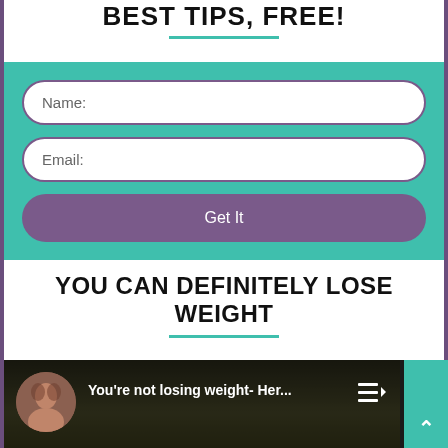BEST TIPS, FREE!
[Figure (screenshot): A web form with teal background containing Name and Email input fields and a purple 'Get It' button]
YOU CAN DEFINITELY LOSE WEIGHT
[Figure (screenshot): A YouTube video thumbnail showing a woman with text 'You're not losing weight- Her...' with a playlist icon and a teal scroll-to-top button]